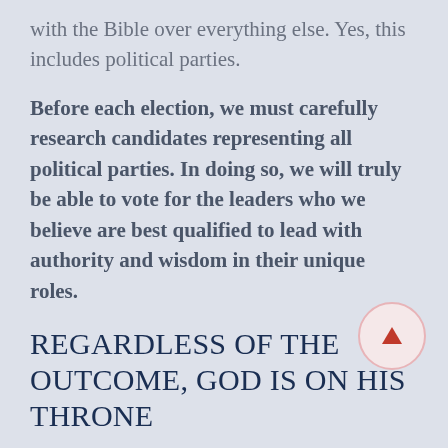with the Bible over everything else. Yes, this includes political parties.
Before each election, we must carefully research candidates representing all political parties. In doing so, we will truly be able to vote for the leaders who we believe are best qualified to lead with authority and wisdom in their unique roles.
REGARDLESS OF THE OUTCOME, GOD IS ON HIS THRONE
Many Christians experience frustration when they hear the